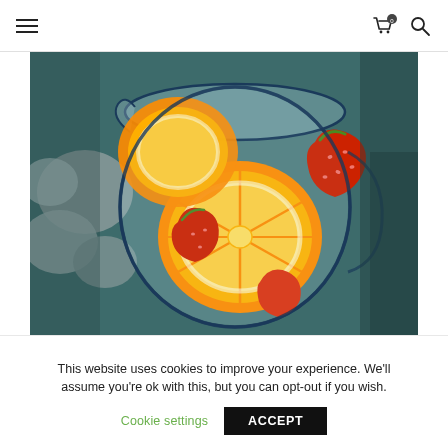≡  [cart icon with badge 0]  [search icon]
[Figure (photo): Top-down view of a glass pitcher filled with orange slices and strawberries, surrounded by ice rocks on a dark background]
This website uses cookies to improve your experience. We'll assume you're ok with this, but you can opt-out if you wish.
Cookie settings   ACCEPT